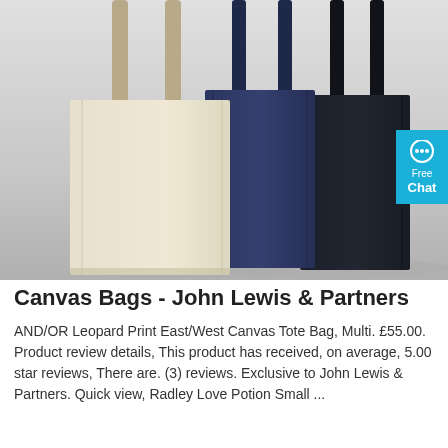[Figure (photo): Three canvas tote bags displayed against a light grey background. Left bag is cream/natural colored, middle bag is navy blue, right bag is dark navy/black. All bags have long shoulder straps. A cyan 'Free Chat' button widget is visible on the right edge.]
Canvas Bags - John Lewis & Partners
AND/OR Leopard Print East/West Canvas Tote Bag, Multi. £55.00. Product review details, This product has received, on average, 5.00 star reviews, There are. (3) reviews. Exclusive to John Lewis & Partners. Quick view, Radley Love Potion Small ...